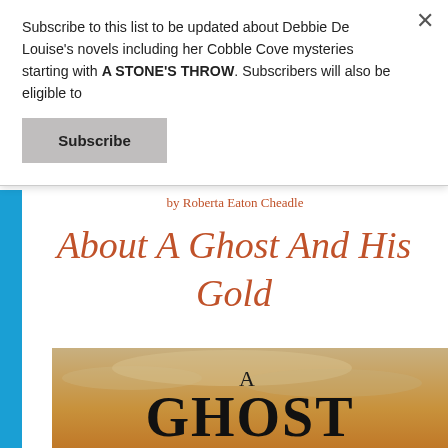Subscribe to this list to be updated about Debbie De Louise's novels including her Cobble Cove mysteries starting with A STONE'S THROW. Subscribers will also be eligible to
Subscribe
by Roberta Eaton Cheadle
About A Ghost And His Gold
[Figure (photo): Book cover for 'A Ghost' showing a golden-orange sky background with large serif text reading 'A GHOST']